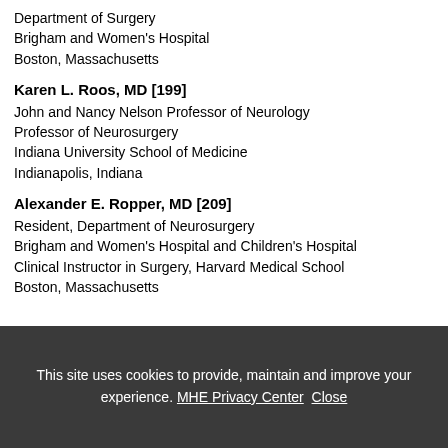Department of Surgery
Brigham and Women's Hospital
Boston, Massachusetts
Karen L. Roos, MD [199]
John and Nancy Nelson Professor of Neurology
Professor of Neurosurgery
Indiana University School of Medicine
Indianapolis, Indiana
Alexander E. Ropper, MD [209]
Resident, Department of Neurosurgery
Brigham and Women's Hospital and Children's Hospital
Clinical Instructor in Surgery, Harvard Medical School
Boston, Massachusetts
This site uses cookies to provide, maintain and improve your experience. MHE Privacy Center  Close